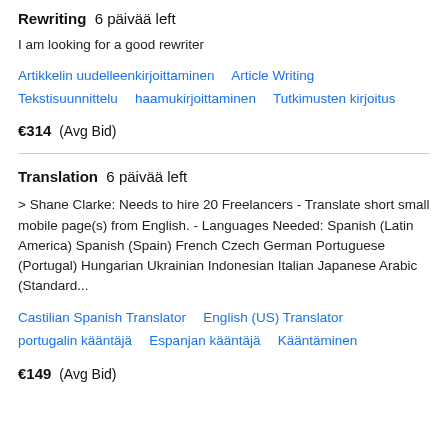Rewriting  6 päivää left
I am looking for a good rewriter
Artikkelin uudelleenkirjoittaminen   Article Writing   Tekstisuunnittelu   haamukirjoittaminen   Tutkimusten kirjoitus
€314  (Avg Bid)
Translation  6 päivää left
> Shane Clarke: Needs to hire 20 Freelancers - Translate short small mobile page(s) from English. - Languages Needed: Spanish (Latin America) Spanish (Spain) French Czech German Portuguese (Portugal) Hungarian Ukrainian Indonesian Italian Japanese Arabic (Standard...
Castilian Spanish Translator   English (US) Translator   portugalin kääntäjä   Espanjan kääntäjä   Kääntäminen
€149  (Avg Bid)